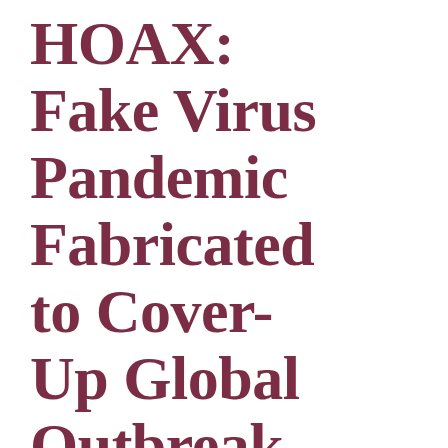HOAX: Fake Virus Pandemic Fabricated to Cover-Up Global Outbreak